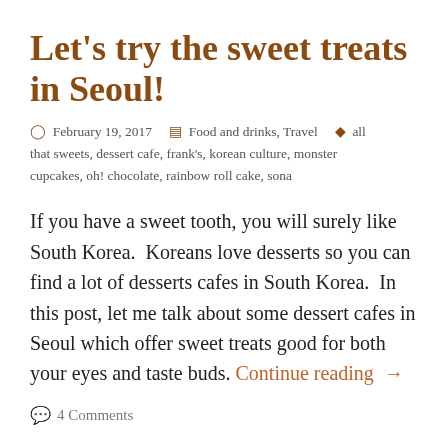Let's try the sweet treats in Seoul!
February 19, 2017   Food and drinks, Travel   all that sweets, dessert cafe, frank's, korean culture, monster cupcakes, oh! chocolate, rainbow roll cake, sona
If you have a sweet tooth, you will surely like South Korea.  Koreans love desserts so you can find a lot of desserts cafes in South Korea.  In this post, let me talk about some dessert cafes in Seoul which offer sweet treats good for both your eyes and taste buds. Continue reading →
4 Comments